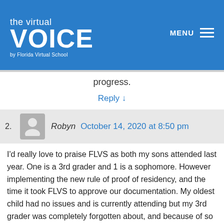[Figure (logo): The Virtual VOICE by Florida Virtual School logo on blue background with MENU hamburger icon]
progress.
Reply ↓
Robyn  October 14, 2020 at 8:50 pm
I'd really love to praise FLVS as both my sons attended last year. One is a 3rd grader and 1 is a sophomore. However implementing the new rule of proof of residency, and the time it took FLVS to approve our documentation. My oldest child had no issues and is currently attending but my 3rd grader was completely forgotten about, and because of so many others are now attending, ( I was concerned and was assured he would still have his spot in the classes) that by the